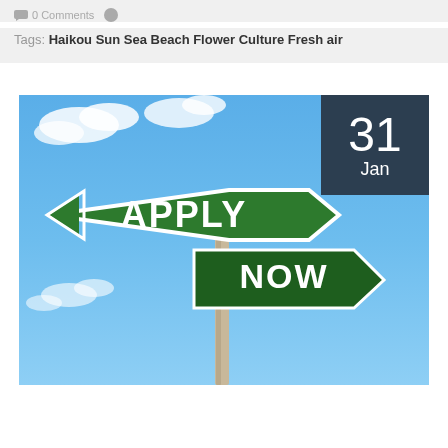0 Comments
Tags: Haikou Sun Sea Beach Flower Culture Fresh air
[Figure (photo): Street signs on a pole against a blue sky with clouds, reading 'APPLY NOW' on two green directional signs. A dark navy date badge in top-right corner shows '31 Jan'.]